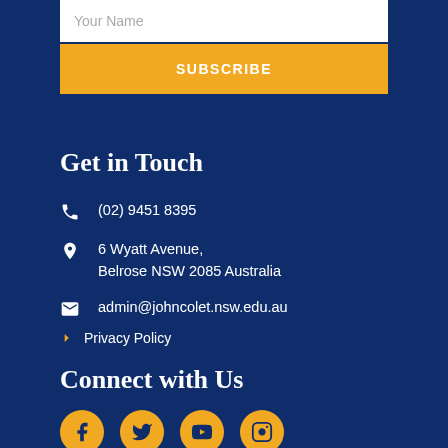Your Name
SUBSCRIBE
Get in Touch
(02) 9451 8395
6 Wyatt Avenue, Belrose NSW 2085 Australia
admin@johncolet.nsw.edu.au
Privacy Policy
Connect with Us
[Figure (illustration): Social media icons: Facebook, Twitter, YouTube, Instagram in gold circles]